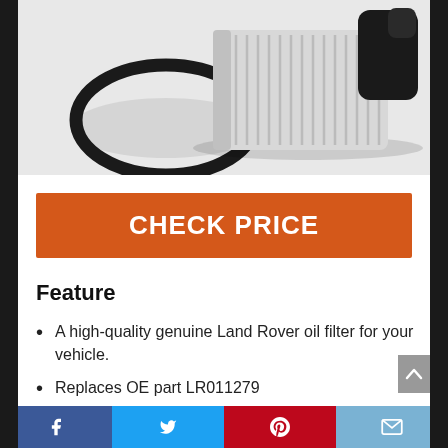[Figure (photo): A cylindrical white oil filter element with ribbed sides and a black rubber O-ring seal placed next to it, on a white/light grey background.]
CHECK PRICE
Feature
A high-quality genuine Land Rover oil filter for your vehicle.
Replaces OE part LR011279
Fits the Land Rover LR4 (2010 –